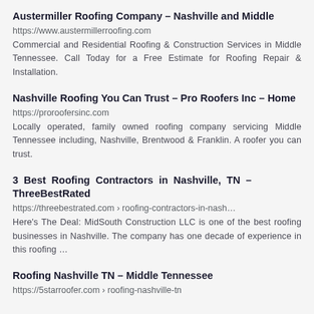Austermiller Roofing Company – Nashville and Middle
https://www.austermillerroofing.com
Commercial and Residential Roofing & Construction Services in Middle Tennessee. Call Today for a Free Estimate for Roofing Repair & Installation.
Nashville Roofing You Can Trust – Pro Roofers Inc – Home
https://proroofersinc.com
Locally operated, family owned roofing company servicing Middle Tennessee including, Nashville, Brentwood & Franklin. A roofer you can trust.
3 Best Roofing Contractors in Nashville, TN – ThreeBestRated
https://threebestrated.com › roofing-contractors-in-nash…
Here's The Deal: MidSouth Construction LLC is one of the best roofing businesses in Nashville. The company has one decade of experience in this roofing …
Roofing Nashville TN – Middle Tennessee
https://5starroofer.com › roofing-nashville-tn